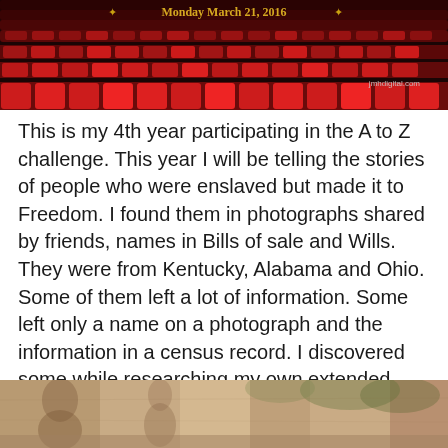[Figure (photo): Top banner image showing red theater seats in a dark auditorium with text 'Monday March 21, 2016' and watermark 'jmhdigital.com']
This is my 4th year participating in the A to Z challenge.  This year I will be telling the stories of  people who were enslaved but made it to Freedom. I found them in photographs shared by friends, names in Bills of sale and Wills.  They were from Kentucky, Alabama and Ohio.  Some of them left a lot of information. Some left only a name on a photograph and the information in a census record. I discovered some while researching my own extended family history.  They all left a story.
[Figure (photo): Bottom partial sepia-toned historical photograph showing people outdoors]